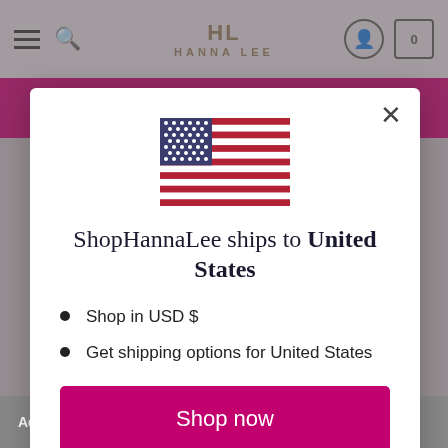[Figure (screenshot): Website header/navigation bar with hamburger menu, search icon, Hanna Lee logo, user account icon, and cart icon showing 0 items]
[Figure (screenshot): Modal dialog showing US flag, shipping destination message, list items, shop now button, and change shipping country link]
ShopHannaLee ships to United States
Shop in USD $
Get shipping options for United States
Shop now
Change shipping country
Accept Cookies